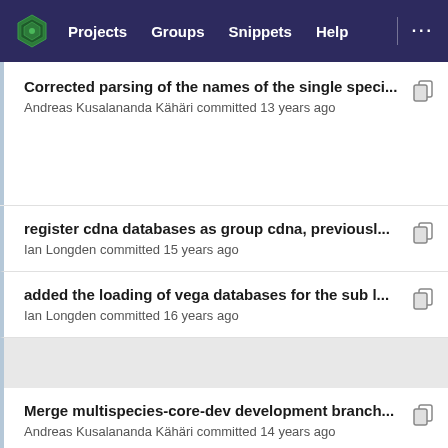Projects  Groups  Snippets  Help  ...
Corrected parsing of the names of the single speci...
Andreas Kusalananda Kähäri committed 13 years ago
register cdna databases as group cdna, previousl...
Ian Longden committed 15 years ago
added the loading of vega databases for the sub l...
Ian Longden committed 16 years ago
Merge multispecies-core-dev development branch...
Andreas Kusalananda Kähäri committed 14 years ago